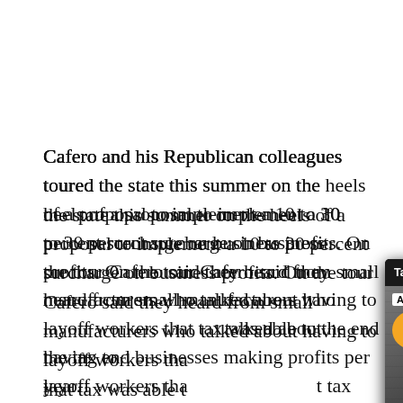Cafero and his Republican colleagues toured the state this summer on the heels of a proposal to implement a 10 to 30 percent surcharge on business profits. On the tour Cafero said they heard from small manufacturers who talked about having to layoff workers that tax was able to the end the tax en businesses making profits per year.
[Figure (screenshot): AP news video popup overlay titled 'Taiwan drills simulate response to ...' with a muted video showing soldiers, labeled 'TAIWAN DRILLS SIMULATE RESPONSE' with AP badge and orange mute button]